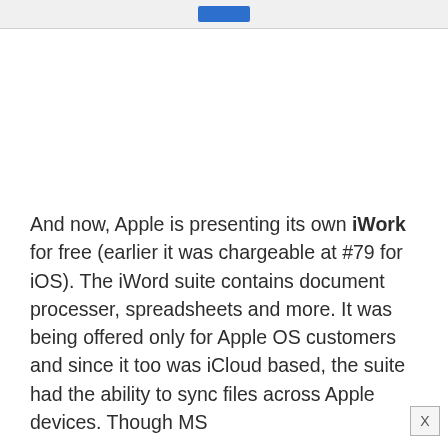And now, Apple is presenting its own iWork for free (earlier it was chargeable at #79 for iOS). The iWord suite contains document processer, spreadsheets and more. It was being offered only for Apple OS customers and since it too was iCloud based, the suite had the ability to sync files across Apple devices. Though MS